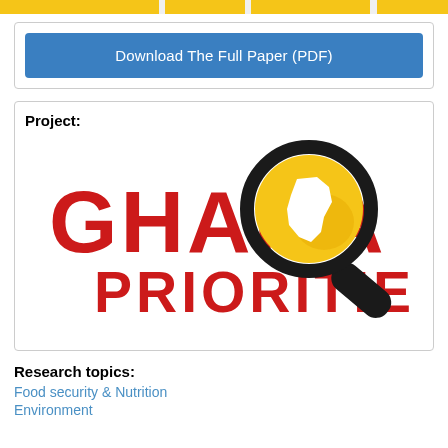Download The Full Paper (PDF)
Project:
[Figure (logo): Ghana Priorities logo: red bold text 'GHANA PRIORITIES' with a magnifying glass containing a yellow circle with the white silhouette of Ghana map]
Research topics:
Food security & Nutrition
Environment